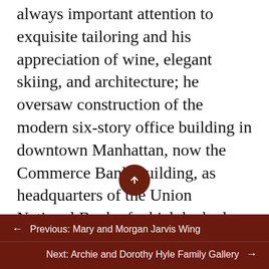always important attention to exquisite tailoring and his appreciation of wine, elegant skiing, and architecture; he oversaw construction of the modern six-story office building in downtown Manhattan, now the Commerce Bank Building, as headquarters of the Union National Bank of which he had been at various times president, CEO, and board chairman. Eleanor always made it clear that she “bled purple.” She took a leading role in the KSU Foundation Board of Trustees and the Alumni Association, as well as the Athletic Council and the Marianna Kistler Beach Museum of Art Board of visitors, while participating in community-oriented boards and
← Previous: Mary and Morgan Jarvis Wing
Next: Archie and Dorothy Hyle Family Gallery →